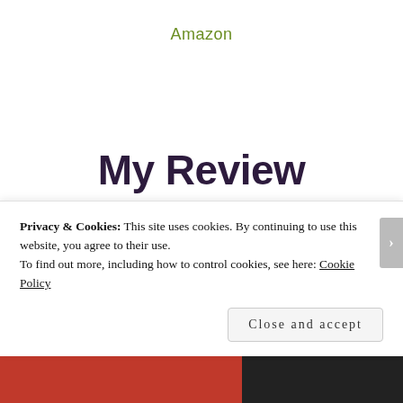Amazon
My Review
I chose to read this book after receiving a free e-copy from the author. All opinions in this review are my own
Privacy & Cookies: This site uses cookies. By continuing to use this website, you agree to their use.
To find out more, including how to control cookies, see here: Cookie Policy
Close and accept